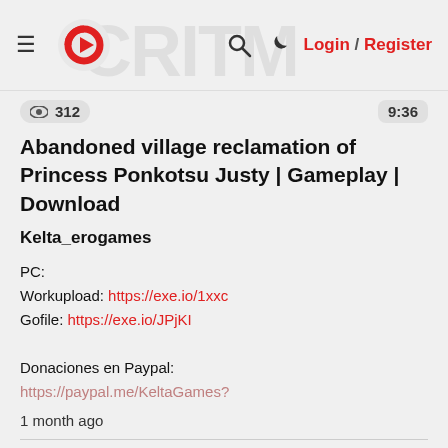≡ [logo] 🔍 ☾ Login / Register
👁 312   9:36
Abandoned village reclamation of Princess Ponkotsu Justy | Gameplay | Download
Kelta_erogames
PC:
Workupload: https://exe.io/1xxc
Gofile: https://exe.io/JPjKI

Donaciones en Paypal:
https://paypal.me/KeltaGames?
1 month ago